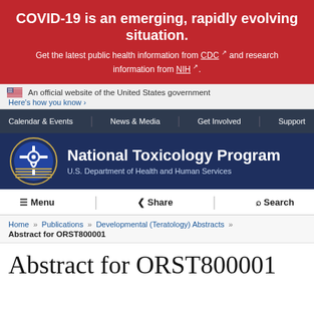COVID-19 is an emerging, rapidly evolving situation.
Get the latest public health information from CDC and research information from NIH.
An official website of the United States government
Here's how you know
Calendar & Events | News & Media | Get Involved | Support
[Figure (logo): National Toxicology Program logo with circular emblem and U.S. Department of Health and Human Services text]
Menu | Share | Search
Home » Publications » Developmental (Teratology) Abstracts » Abstract for ORST800001
Abstract for ORST800001